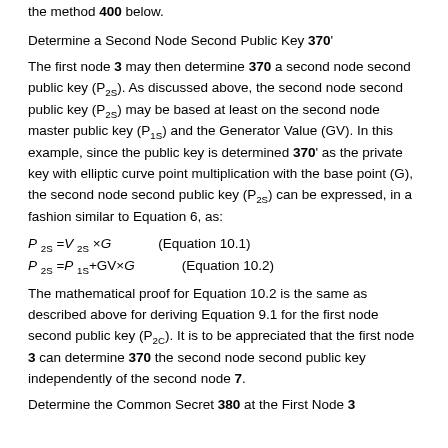the method 400 below.
Determine a Second Node Second Public Key 370'
The first node 3 may then determine 370 a second node second public key (P2S). As discussed above, the second node second public key (P2S) may be based at least on the second node master public key (P1S) and the Generator Value (GV). In this example, since the public key is determined 370' as the private key with elliptic curve point multiplication with the base point (G), the second node second public key (P2S) can be expressed, in a fashion similar to Equation 6, as:
The mathematical proof for Equation 10.2 is the same as described above for deriving Equation 9.1 for the first node second public key (P2C). It is to be appreciated that the first node 3 can determine 370 the second node second public key independently of the second node 7.
Determine the Common Secret 380 at the First Node 3